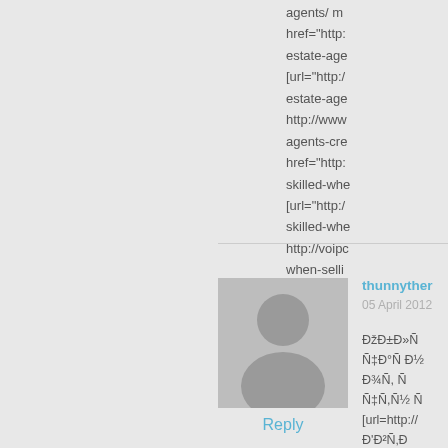agents/ m href="http: estate-age [url="http:/ estate-age http://www agents-cre href="http: skilled-whe [url="http:/ skilled-whe http://voipc when-selli
[Figure (illustration): Grey avatar/user placeholder icon in a square grey box]
Reply
thunnyther
05 April 2012
ÐžÐ±Ð»Ð Ð½Ñ‡Ð Ð°Ñ ÐÐ¾Ñ ÐÑ Ñ‡Ñ,лÑ Ñ [url=http:// Ñ'Ð'рÑ‚Ñ ÑÐÑšÑÐÐ¾Ñ†ÐµÐ½Ñ